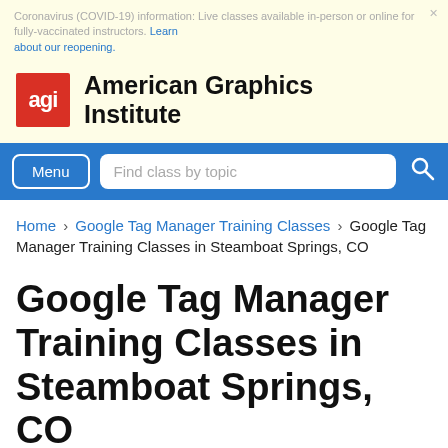Coronavirus (COVID-19) information: Live classes available in-person or online for fully-vaccinated instructors. Learn about our reopening.
[Figure (logo): American Graphics Institute red logo with 'agi' text in white]
American Graphics Institute
Menu
Find class by topic
Home › Google Tag Manager Training Classes › Google Tag Manager Training Classes in Steamboat Springs, CO
Google Tag Manager Training Classes in Steamboat Springs, CO